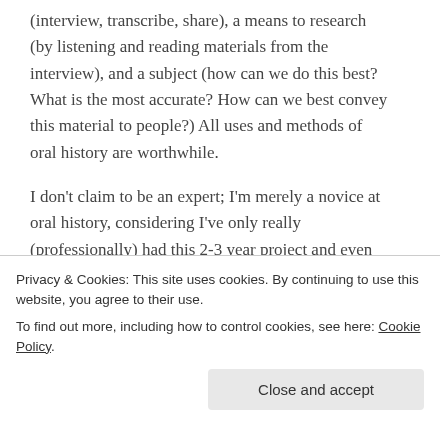(interview, transcribe, share), a means to research (by listening and reading materials from the interview), and a subject (how can we do this best? What is the most accurate?  How can we best convey this material to people?)  All uses and methods of oral history are worthwhile.
I don't claim to be an expert; I'm merely a novice at oral history, considering I've only really (professionally) had this 2-3 year project and even though it's been 30 interviews, it's just one subject.  Judging by how different every interview is, I don't know that I could ever become an expert.  But, I don't think there is anything wrong with sharing oral history in the format of excerpts, whether audio
Privacy & Cookies: This site uses cookies. By continuing to use this website, you agree to their use.
To find out more, including how to control cookies, see here: Cookie Policy